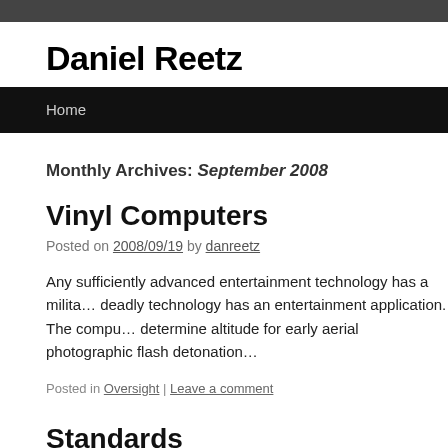Daniel Reetz
Home
Monthly Archives: September 2008
Vinyl Computers
Posted on 2008/09/19 by danreetz
Any sufficiently advanced entertainment technology has a milita… deadly technology has an entertainment application. The compu… determine altitude for early aerial photographic flash detonation…
Posted in Oversight | Leave a comment
Standards